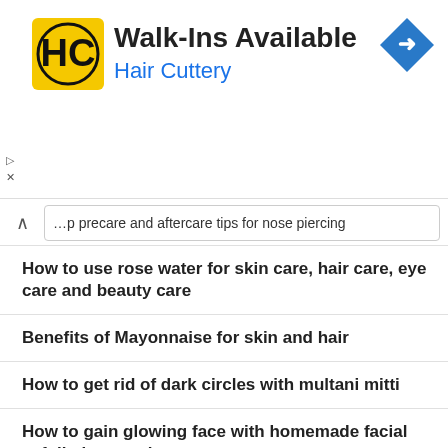[Figure (logo): Hair Cuttery advertisement banner with HC logo, Walk-Ins Available text, and blue navigation arrow icon]
…p precare and aftercare tips for nose piercing
How to use rose water for skin care, hair care, eye care and beauty care
Benefits of Mayonnaise for skin and hair
How to get rid of dark circles with multani mitti
How to gain glowing face with homemade facial exfoliating scrubs
Homemade avocado body scrubs to treat the winter dry skin